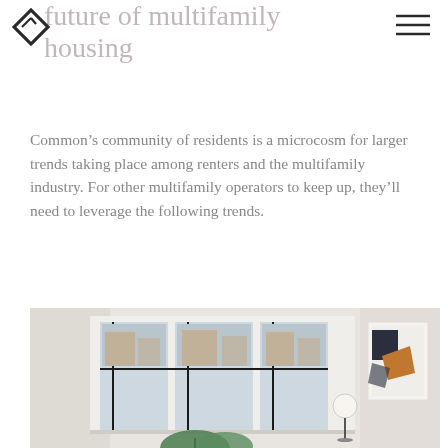future of multifamily housing
[Logo: Common diamond icon] [Hamburger menu]
Common’s community of residents is a microcosm for larger trends taking place among renters and the multifamily industry. For other multifamily operators to keep up, they’ll need to leverage the following trends.
[Figure (photo): Interior photo of a bright apartment room with large bay windows, view of brownstone buildings outside, a globe floor lamp, and an abstract geometric artwork on the wall. A monstera plant leaf is visible in the foreground.]